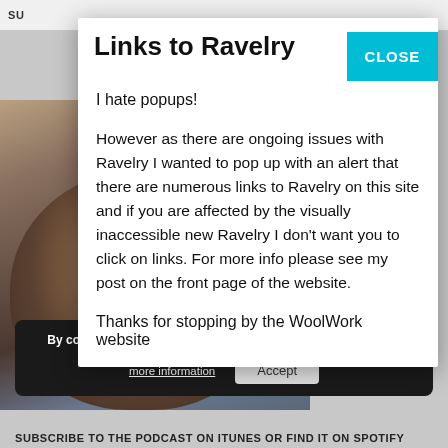SU
[Figure (photo): Background website page with a partial photo of a coffee cup (blue mug with dark liquid and specks), partially obscured by a modal popup dialog.]
Links to Ravelry
I hate popups!
However as there are ongoing issues with Ravelry I wanted to pop up with an alert that there are numerous links to Ravelry on this site and if you are affected by the visually inaccessible new Ravelry I don't want you to click on links. For more info please see my post on the front page of the website.
Thanks for stopping by the WoolWork website
By continuing to use the site, you agree to the use of cookies.
more information
Accept
SUBSCRIBE TO THE PODCAST ON ITUNES OR FIND IT ON SPOTIFY